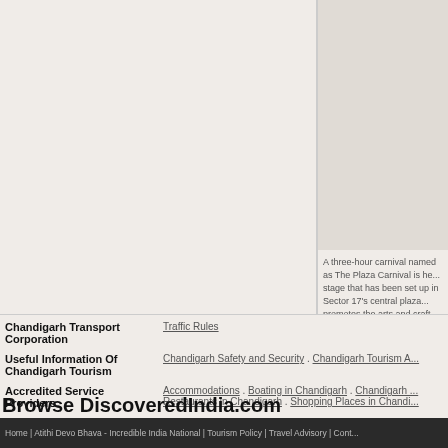[Figure (photo): Top right image area - partially visible image panel with light beige/grey background]
A three-hour carnival named as The Plaza Carnival is he... stage that has been set up in Sector 17's central plaza... promotes the arts and craft talents of various artists pa... dance, music and magic show to painting display, acroba...
| Category | Links |
| --- | --- |
| Chandigarh Transport Corporation | Traffic Rules |
| Useful Information Of Chandigarh Tourism | Chandigarh Safety and Security . Chandigarh Tourism A... |
| Accredited Service Providers | Accommodations . Boating in Chandigarh . Chandigarh ... Restaurants in Chandigarh . Shopping Places in Chandi... |
Browse DiscoveredIndia.com
| Category | Links |
| --- | --- |
| By State | Andhra Pradesh . Andaman & Nicobar . Arunachal Prade... . Goa . Gujarat . Haryana . Himachal Pradesh . Jammu &... Meghalaya . Mizoram . Nagaland . Orissa . Pondicherry... |
Home | Atithi Devo Bhava - Incredible India National | Tourism Policy | Travel Advisory | Cont...